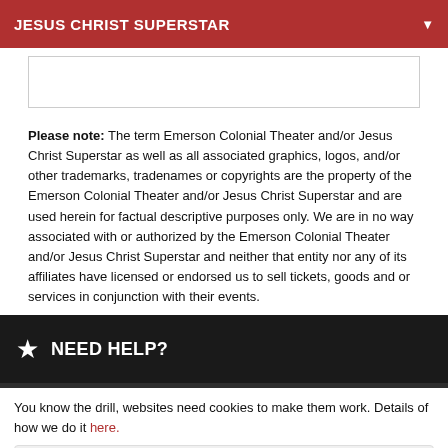JESUS CHRIST SUPERSTAR
Please note: The term Emerson Colonial Theater and/or Jesus Christ Superstar as well as all associated graphics, logos, and/or other trademarks, tradenames or copyrights are the property of the Emerson Colonial Theater and/or Jesus Christ Superstar and are used herein for factual descriptive purposes only. We are in no way associated with or authorized by the Emerson Colonial Theater and/or Jesus Christ Superstar and neither that entity nor any of its affiliates have licensed or endorsed us to sell tickets, goods and or services in conjunction with their events.
NEED HELP?
You know the drill, websites need cookies to make them work. Details of how we do it here.
Got it!